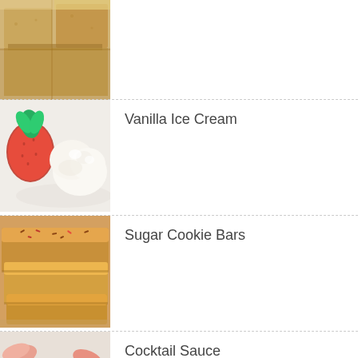[Figure (photo): Partial top view of baked golden bar cookies/shortbread cut into squares on a surface]
[Figure (photo): Vanilla ice cream scoops with a strawberry on a white plate]
Vanilla Ice Cream
[Figure (photo): Stacked sugar cookie bars with orange frosting and sprinkles]
Sugar Cookie Bars
[Figure (photo): Cocktail sauce in a glass bowl with shrimp around it]
Cocktail Sauce